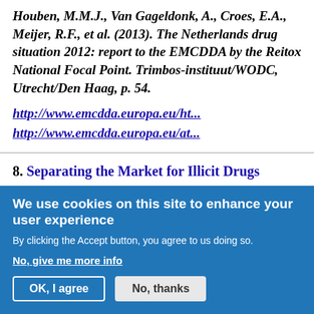Houben, M.M.J., Van Gageldonk, A., Croes, E.A., Meijer, R.F., et al. (2013). The Netherlands drug situation 2012: report to the EMCDDA by the Reitox National Focal Point. Trimbos-instituut/WODC, Utrecht/Den Haag, p. 54. http://www.emcdda.europa.eu/ht... http://www.emcdda.europa.eu/at...
8. Separating the Market for Illicit Drugs "The Dutch harm reduction policy postulates
We use cookies on this site to enhance your user experience
By clicking the Accept button, you agree to us doing so.
No, give me more info